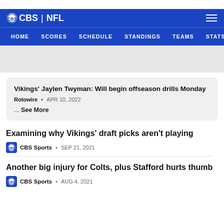CBS | NFL — HOME  SCORES  SCHEDULE  STANDINGS  TEAMS  STATS
Vikings' Jaylen Twyman: Will begin offseason drills Monday
Rotowire • APR 10, 2022
... See More
Examining why Vikings' draft picks aren't playing
CBS Sports • SEP 21, 2021
Another big injury for Colts, plus Stafford hurts thumb
CBS Sports • AUG 4, 2021